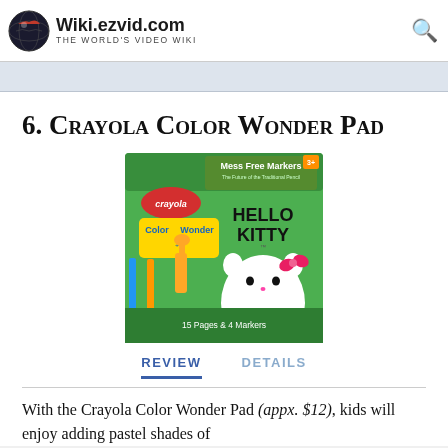Wiki.ezvid.com — The World's Video Wiki
6. Crayola Color Wonder Pad
[Figure (photo): Product image of Crayola Color Wonder Pad Hello Kitty edition showing the box with Hello Kitty character, mess free markers, 15 pages and 4 markers]
REVIEW    DETAILS
With the Crayola Color Wonder Pad (appx. $12), kids will enjoy adding pastel shades of